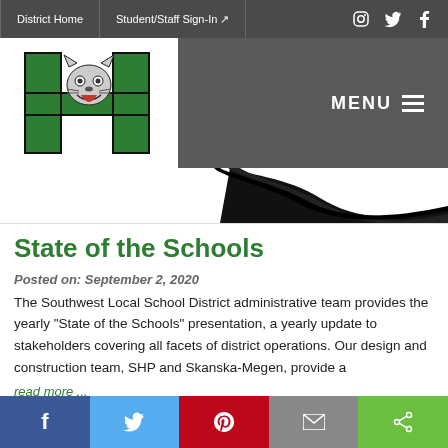District Home | Student/Staff Sign-In
[Figure (logo): Southwest Local School District logo — green letter H with a wildcat mascot]
State of the Schools
Posted on: September 2, 2020
The Southwest Local School District administrative team provides the yearly "State of the Schools" presentation, a yearly update to stakeholders covering all facets of district operations. Our design and construction team, SHP and Skanska-Megen, provide a
read more ...
f | Twitter | Pinterest | Email | Share